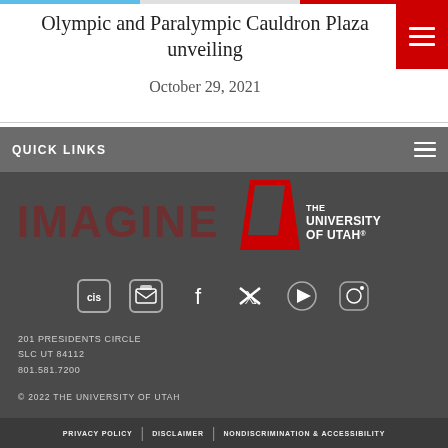Olympic and Paralympic Cauldron Plaza unveiling
October 29, 2021
QUICK LINKS
[Figure (logo): Imagine U - The University of Utah logo with red U icon]
[Figure (infographic): Social media icons: CIS, email/inbox, Facebook, Twitter, YouTube, Instagram]
201 PRESIDENTS CIRCLE
SLC UT 84112
801.581.7200
© 2022 THE UNIVERSITY OF UTAH
PRIVACY POLICY | DISCLAIMER | NONDISCRIMINATION & ACCESSIBILITY